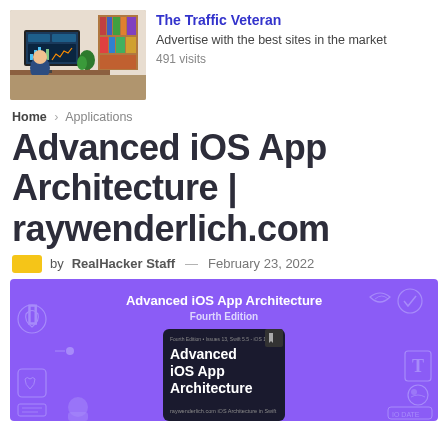[Figure (photo): Person sitting at desk working on a computer with dashboard/analytics on screen, with bookshelves in background]
The Traffic Veteran
Advertise with the best sites in the market
491 visits
Home › Applications
Advanced iOS App Architecture | raywenderlich.com
by RealHacker Staff — February 23, 2022
[Figure (photo): Purple book cover banner for 'Advanced iOS App Architecture Fourth Edition' from raywenderlich.com, showing book cover with title text on dark background, with decorative tech icons around border]